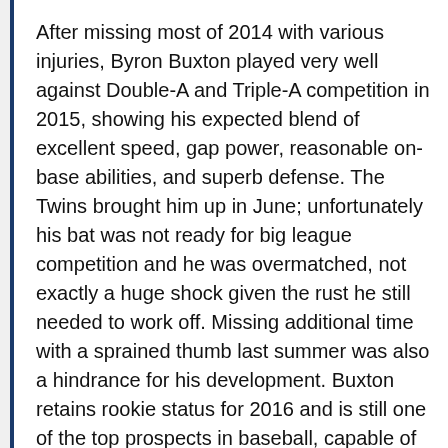After missing most of 2014 with various injuries, Byron Buxton played very well against Double-A and Triple-A competition in 2015, showing his expected blend of excellent speed, gap power, reasonable on-base abilities, and superb defense. The Twins brought him up in June; unfortunately his bat was not ready for big league competition and he was overmatched, not exactly a huge shock given the rust he still needed to work off. Missing additional time with a sprained thumb last summer was also a hindrance for his development. Buxton retains rookie status for 2016 and is still one of the top prospects in baseball, capable of providing quality production in multiple categories. This assumes he'll avoid further injury problems and gets enough at-bats to iron out the contact issues that hurt him in the majors. I think he will eventually, but it might take a year or two